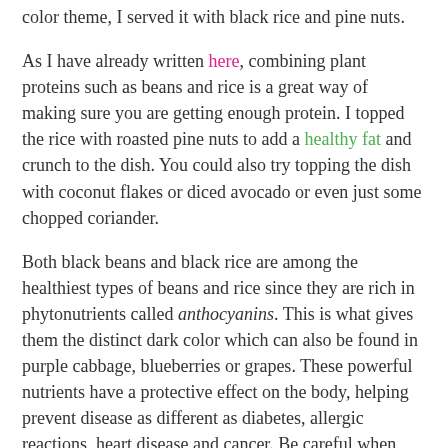color theme, I served it with black rice and pine nuts.
As I have already written here, combining plant proteins such as beans and rice is a great way of making sure you are getting enough protein. I topped the rice with roasted pine nuts to add a healthy fat and crunch to the dish. You could also try topping the dish with coconut flakes or diced avocado or even just some chopped coriander.
Both black beans and black rice are among the healthiest types of beans and rice since they are rich in phytonutrients called anthocyanins. This is what gives them the distinct dark color which can also be found in purple cabbage, blueberries or grapes. These powerful nutrients have a protective effect on the body, helping prevent disease as different as diabetes, allergic reactions, heart disease and cancer. Be careful when you are soaking and cooking them though